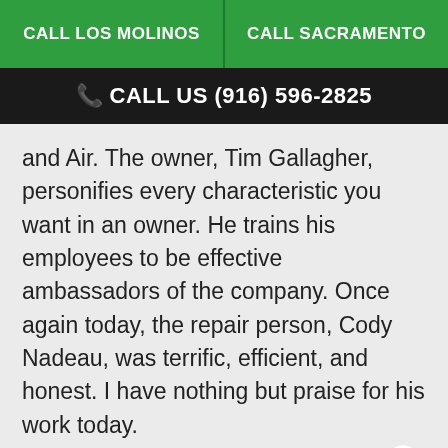CALL LOS MOLINOS | CALL SACRAMENTO
CALL US (916) 596-2825
and Air. The owner, Tim Gallagher, personifies every characteristic you want in an owner. He trains his employees to be effective ambassadors of the company. Once again today, the repair person, Cody Nadeau, was terrific, efficient, and honest. I have nothing but praise for his work today.
Jeff S.